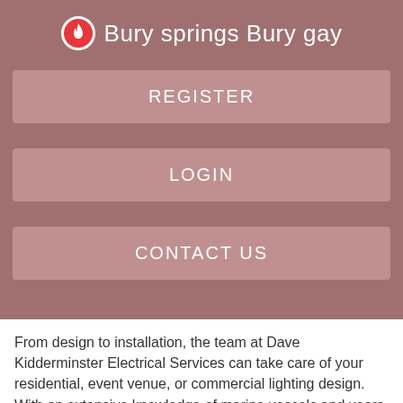Bury springs Bury gay
REGISTER
LOGIN
CONTACT US
From design to installation, the team at Dave Kidderminster Electrical Services can take care of your residential, event venue, or commercial lighting design. With an extensive knowledge of marine vessels and years of experience, our team of Master Electricians are happy to come to you. Make an enquiry todaycreativefitliving.comicalservices@creativefitliving.com Contact Fax:.
Dave